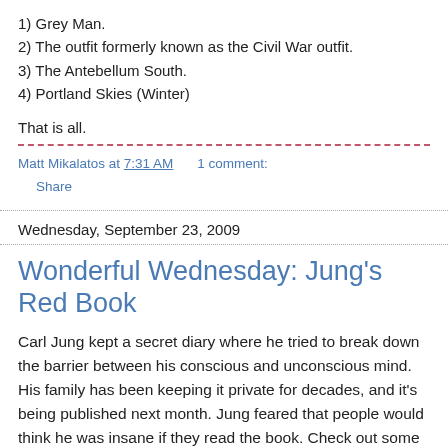1) Grey Man.
2) The outfit formerly known as the Civil War outfit.
3) The Antebellum South.
4) Portland Skies (Winter)
That is all.
Matt Mikalatos at 7:31 AM    1 comment:
Share
Wednesday, September 23, 2009
Wonderful Wednesday: Jung's Red Book
Carl Jung kept a secret diary where he tried to break down the barrier between his conscious and unconscious mind. His family has been keeping it private for decades, and it's being published next month.  Jung feared that people would think he was insane if they read the book.  Check out some